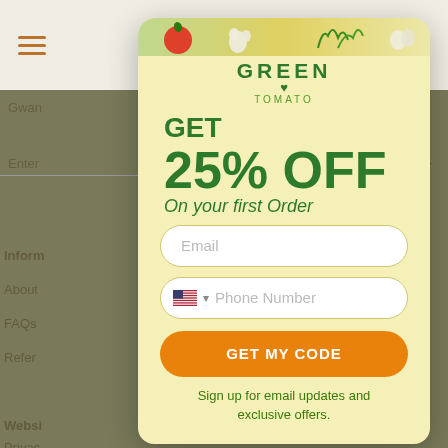[Figure (screenshot): Website background showing navigation bar with hamburger menu and basket icon, and partial website content with greyed-out text]
[Figure (infographic): Green Tomato popup modal on yellow background offering 25% off first order with email and phone number fields and orange GET MY CODE button]
GREEN TOMATO
GET
25% OFF
On your first Order
Email
Phone Number
GET MY CODE
Sign up for email updates and exclusive offers.